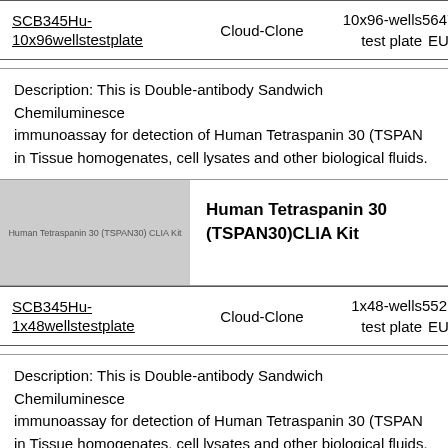| Product ID | Brand | Size | Price |
| --- | --- | --- | --- |
| SCB345Hu-10x96wellstestplate | Cloud-Clone | 10x96-wells test plate | 5647._ EUR |
Description: This is Double-antibody Sandwich Chemiluminescence immunoassay for detection of Human Tetraspanin 30 (TSPAN30) in Tissue homogenates, cell lysates and other biological fluids.
[Figure (photo): Product image placeholder for Human Tetraspanin 30 (TSPAN30) CLIA Kit, grey rectangle with text overlay]
Human Tetraspanin 30 (TSPAN30)CLIA Kit
| Product ID | Brand | Size | Price |
| --- | --- | --- | --- |
| SCB345Hu-1x48wellstestplate | Cloud-Clone | 1x48-wells test plate | 552.7 EUR |
Description: This is Double-antibody Sandwich Chemiluminescence immunoassay for detection of Human Tetraspanin 30 (TSPAN30) in Tissue homogenates, cell lysates and other biological fluids.